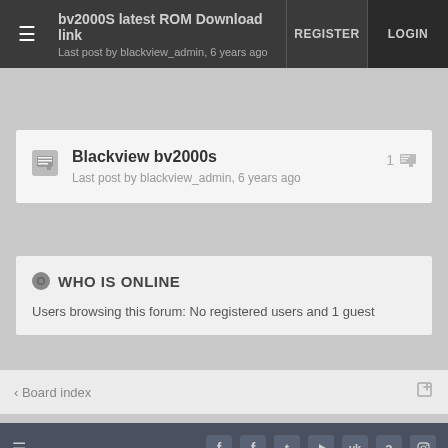bv2000S latest ROM Download link — Last post by blackview_admin, 6 years ago | REGISTER | LOGIN
Blackview bv2000s
Last post by blackview_admin, 6 years ago
WHO IS ONLINE
Users browsing this forum: No registered users and 1 guest
< Board index
Social icons: Facebook, Facebook, Twitter, YouTube, VK, Amazon, Instagram